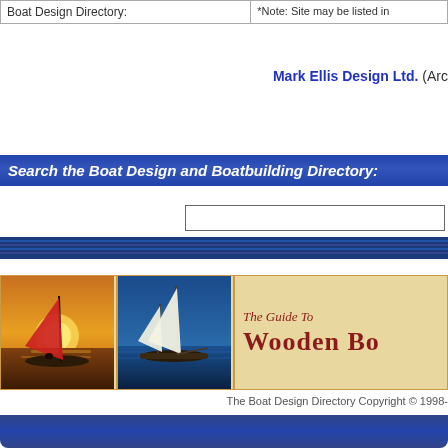| Boat Design Directory: | *Note: Site may be listed in |
| --- | --- |
Mark Ellis Design Ltd. (Arc
Search the Boat Design and Boatbuilding Directory:
[Figure (screenshot): Search input text box]
[Figure (illustration): Banner: The Guide To Wooden Bo[ats] with two sailboat photos]
The Boat Design Directory Copyright © 1998-